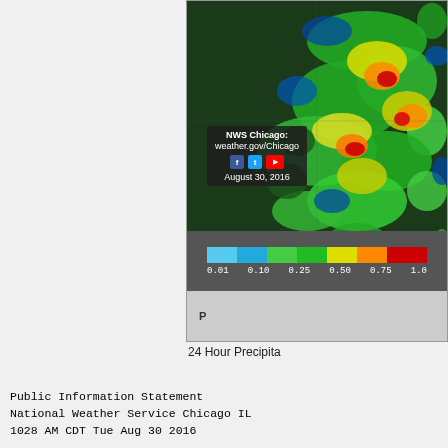[Figure (map): 24 Hour Precipitation radar map from NWS Chicago showing rainfall amounts over the Midwest region, with color scale from blue (0.001 in) to red (1.0+ in). Overlaid with NWS Chicago branding, social media icons, and date August 30, 2016.]
24 Hour Precipita
Public Information Statement
National Weather Service Chicago IL
1028 AM CDT Tue Aug 30 2016

...Morning Rainfall Roundup...

   The following are rain amounts for the previous 24
   as measured in the morning by NWS Cooperative Obse
   and CoCoRaHS observers.
   Observations are usually taken between 6 AND 8 AM.

   24-hour rainfall amounts